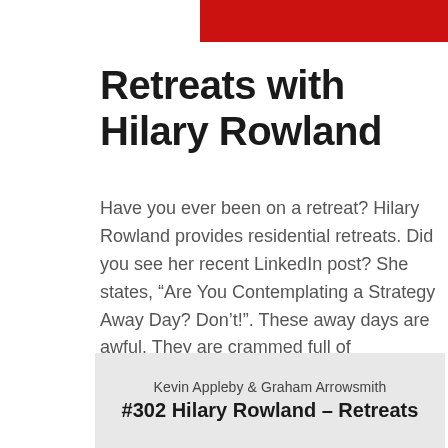Retreats with Hilary Rowland
Have you ever been on a retreat? Hilary Rowland provides residential retreats. Did you see her recent LinkedIn post? She states, “Are You Contemplating a Strategy Away Day? Don’t!”. These away days are awful. They are crammed full of PowerPoint presentations. Then someone tries desperately to herd people in one direction. A written plan is then agreed upon. Which, of course, no one looks at again.
Kevin Appleby & Graham Arrowsmith
#302 Hilary Rowland – Retreats